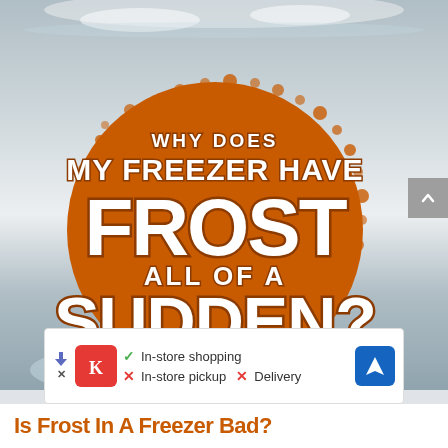[Figure (illustration): Hero image showing a frosted/icy freezer background with an orange halftone circle overlay containing bold white text with orange stroke reading 'WHY DOES MY FREEZER HAVE FROST ALL OF A SUDDEN?' in a graphic design style]
[Figure (infographic): Advertisement bar for Kroger showing store logo, checkmark for In-store shopping, X marks for In-store pickup and Delivery, and a blue navigation icon]
Is Frost In A Freezer Bad?